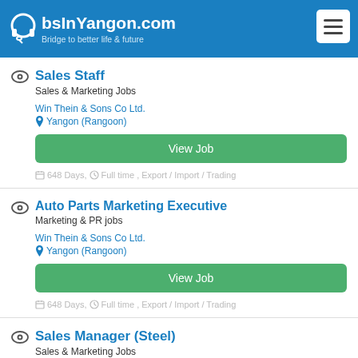JobsInYangon.com - Bridge to better life & future
Sales Staff
Sales & Marketing Jobs
Win Thein & Sons Co Ltd.
Yangon (Rangoon)
View Job
648 Days, Full time , Export / Import / Trading
Auto Parts Marketing Executive
Marketing & PR jobs
Win Thein & Sons Co Ltd.
Yangon (Rangoon)
View Job
648 Days, Full time , Export / Import / Trading
Sales Manager (Steel)
Sales & Marketing Jobs